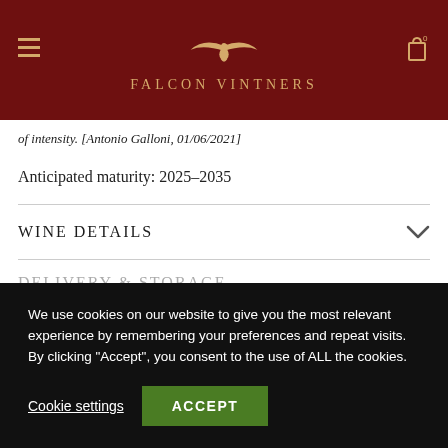FALCON VINTNERS
of intensity. [Antonio Galloni, 01/06/2021]
Anticipated maturity: 2025-2035
WINE DETAILS
DELIVERY & STORAGE
We use cookies on our website to give you the most relevant experience by remembering your preferences and repeat visits. By clicking "Accept", you consent to the use of ALL the cookies.
Cookie settings
ACCEPT